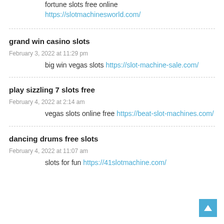fortune slots free online https://slotmachinesworld.com/
grand win casino slots
February 3, 2022 at 11:29 pm
big win vegas slots https://slot-machine-sale.com/
play sizzling 7 slots free
February 4, 2022 at 2:14 am
vegas slots online free https://beat-slot-machines.com/
dancing drums free slots
February 4, 2022 at 11:07 am
slots for fun https://41slotmachine.com/